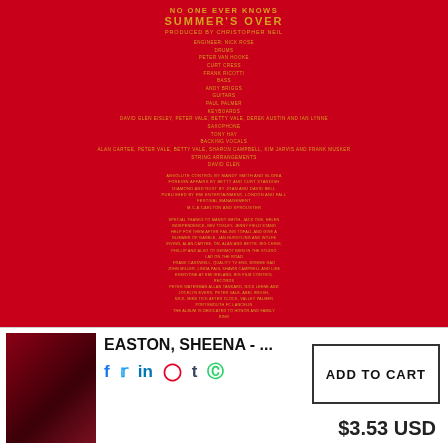[Figure (photo): Back cover of a vinyl record album on red background with gold text credits. Shows production credits, personnel, and acknowledgements in small gold lettering on red background. Snow Records Japan and Aurex logo in bottom right corner.]
Back to the top
[Figure (photo): Vinyl record disc partially visible, black on grey background]
EASTON, SHEENA - ...
f  in  t
ADD TO CART
$3.53 USD